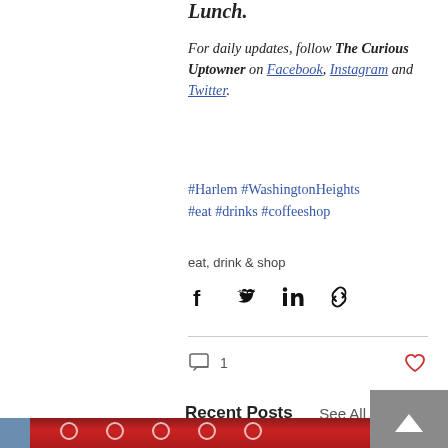For daily updates, follow The Curious Uptowner on Facebook, Instagram and Twitter.
#Harlem #WashingtonHeights #eat #drinks #coffeeshop
eat, drink & shop
[Figure (infographic): Social share icons: Facebook, Twitter, LinkedIn, link]
[Figure (infographic): Comment bubble with count 1, and heart/like icon]
Recent Posts
See All
[Figure (photo): Photo of a building storefront with red awnings featuring white circular logos/icons, and a partial building on the left and right edges]